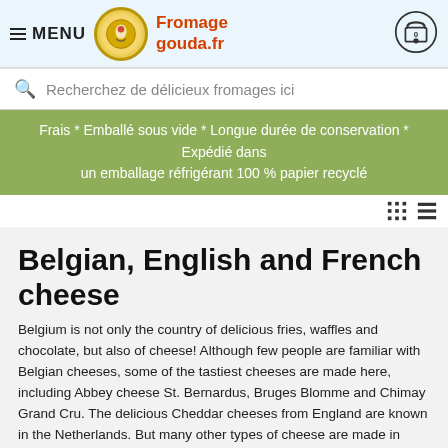≡ MENU  Fromage gouda.fr
Recherchez de délicieux fromages ici
Frais * Emballé sous vide * Longue durée de conservation * Expédié dans un emballage réfrigérant 100 % papier recyclé
Belgian, English and French cheese
Belgium is not only the country of delicious fries, waffles and chocolate, but also of cheese! Although few people are familiar with Belgian cheeses, some of the tastiest cheeses are made here, including Abbey cheese St. Bernardus, Bruges Blomme and Chimay Grand Cru. The delicious Cheddar cheeses from England are known in the Netherlands. But many other types of cheese are made in England, including the Blue Stilton, Aged Leicestershire Red and Cheddar Farmhouse Black. French cheeses are known and loved